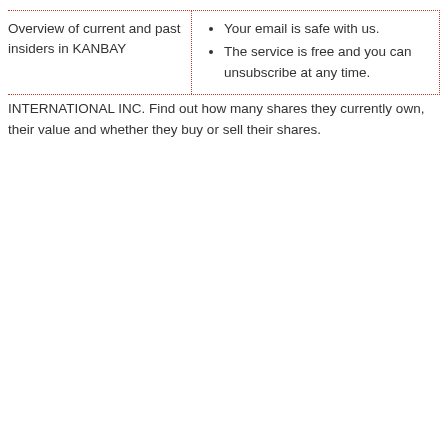Overview of current and past insiders in KANBAY
Your email is safe with us.
The service is free and you can unsubscribe at any time.
INTERNATIONAL INC. Find out how many shares they currently own, their value and whether they buy or sell their shares.